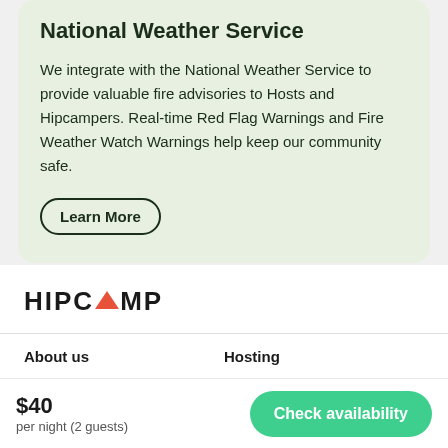National Weather Service
We integrate with the National Weather Service to provide valuable fire advisories to Hosts and Hipcampers. Real-time Red Flag Warnings and Fire Weather Watch Warnings help keep our community safe.
Learn More
[Figure (logo): Hipcamp logo with tent icon in red/orange between HIP and AMP text]
About us
Hosting
$40
per night (2 guests)
Check availability